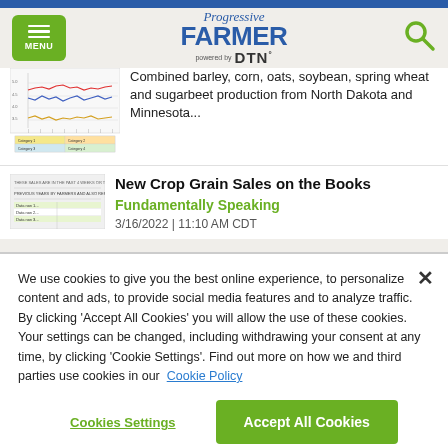Progressive Farmer powered by DTN — Navigation header with MENU button and search icon
Combined barley, corn, oats, soybean, spring wheat and sugarbeet production from North Dakota and Minnesota...
New Crop Grain Sales on the Books
Fundamentally Speaking
3/16/2022 | 11:10 AM CDT
We use cookies to give you the best online experience, to personalize content and ads, to provide social media features and to analyze traffic. By clicking 'Accept All Cookies' you will allow the use of these cookies. Your settings can be changed, including withdrawing your consent at any time, by clicking 'Cookie Settings'. Find out more on how we and third parties use cookies in our  Cookie Policy